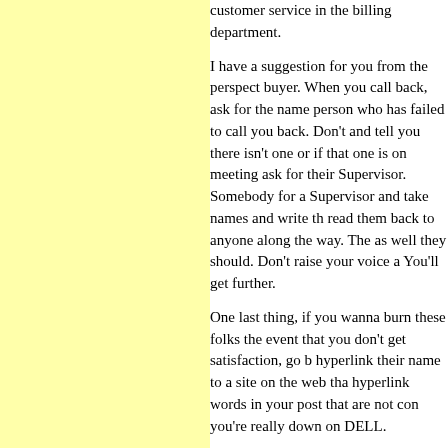customer service in the billing department.
I have a suggestion for you from the perspective of a buyer. When you call back, ask for the name of the person who has failed to call you back. Don't let them and tell you there isn't one or if that one is on a meeting ask for their Supervisor. Somebody must answer for a Supervisor and take names and write them down, read them back to anyone along the way. They will help as well they should. Don't raise your voice and be calm. You'll get further.
One last thing, if you wanna burn these folks bridges in the event that you don't get satisfaction, go blog and hyperlink their name to a site on the web that you can hyperlink words in your post that are not cool, especially if you're really down on DELL.
You probably know this, but if you go to goo
miserable failure
the number one match is Biography of Presid
However, DELL makes a great PC and given this worked out so you may wanna hold up o